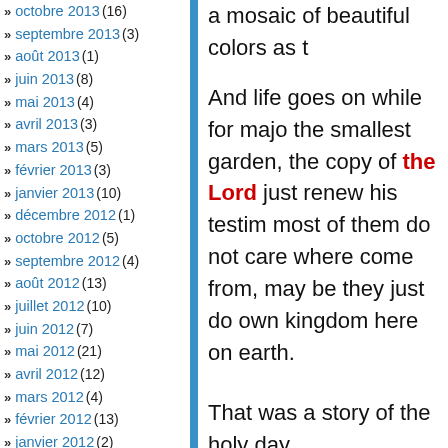octobre 2013 (16)
septembre 2013 (3)
août 2013 (1)
juin 2013 (8)
mai 2013 (4)
avril 2013 (3)
mars 2013 (5)
février 2013 (3)
janvier 2013 (10)
décembre 2012 (1)
octobre 2012 (5)
septembre 2012 (4)
août 2012 (13)
juillet 2012 (10)
juin 2012 (7)
mai 2012 (21)
avril 2012 (12)
mars 2012 (4)
février 2012 (13)
janvier 2012 (2)
décembre 2011 (33)
novembre 2011 (16)
septembre 2011 (4)
août 2011 (6)
juillet 2011 (4)
a mosaic of beautiful colors as t…
And life goes on while for majo… the smallest garden, the copy of… the Lord just renew his testim… most of them do not care where… come from, may be they just do… own kingdom here on earth.
That was a story of the holy day…
Comment RSS feed, Trackback URI
Leave a comment
Leave a Reply